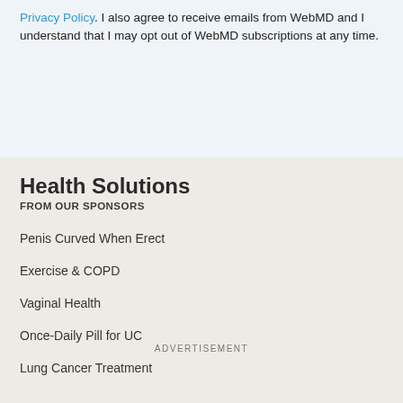Privacy Policy. I also agree to receive emails from WebMD and I understand that I may opt out of WebMD subscriptions at any time.
Health Solutions
FROM OUR SPONSORS
Penis Curved When Erect
Exercise & COPD
Vaginal Health
Once-Daily Pill for UC
Lung Cancer Treatment
ADVERTISEMENT